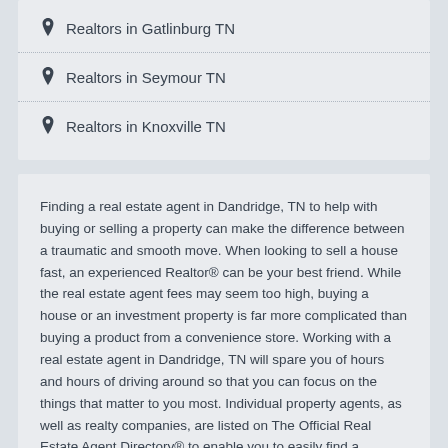Realtors in Gatlinburg TN
Realtors in Seymour TN
Realtors in Knoxville TN
Finding a real estate agent in Dandridge, TN to help with buying or selling a property can make the difference between a traumatic and smooth move. When looking to sell a house fast, an experienced Realtor® can be your best friend. While the real estate agent fees may seem too high, buying a house or an investment property is far more complicated than buying a product from a convenience store. Working with a real estate agent in Dandridge, TN will spare you of hours and hours of driving around so that you can focus on the things that matter to you most. Individual property agents, as well as realty companies, are listed on The Official Real Estate Agent Directory® to enable you to easily find a Dandridge Realtor® - a professional who will help you to buy or sell a home in a timely manner. Don't forget to ask about deals he/she has with home improvement companies or moving companies. If you need more help, you can also read the articles in our Advice section as well as our Blog. There you can find information on a wide range